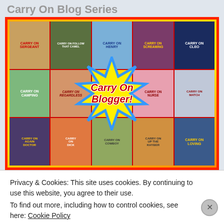Carry On Blog Series
[Figure (photo): Collage of Carry On film movie posters arranged in a grid with orange/yellow border and red inner border. In the center is a comic-book style burst/starburst shape with the text 'Carry On Blogger!' in red italic bold on a yellow background with blue outline. Movie posters visible include: Carry On Sergeant, Carry On Follow That Camel, Carry On Henry, Carry On Screaming, Carry On Cleo, Carry On Camping, Carry On Regardless, Carry On Girls, Carry On Nurse, Carry On Match, Carry On Again Doctor, Carry On Up the Khyber, Carry On Dick, Carry On Cowboy, Carry On Loving.]
Privacy & Cookies: This site uses cookies. By continuing to use this website, you agree to their use.
To find out more, including how to control cookies, see here: Cookie Policy
Close and accept